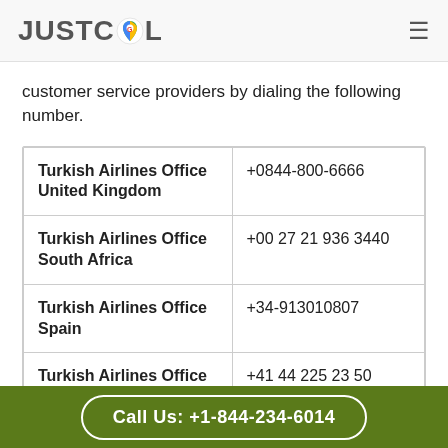JUSTCOL
customer service providers by dialing the following number.
| Office | Phone |
| --- | --- |
| Turkish Airlines Office United Kingdom | +0844-800-6666 |
| Turkish Airlines Office South Africa | +00 27 21 936 3440 |
| Turkish Airlines Office Spain | +34-913010807 |
| Turkish Airlines Office Switzerland | +41 44 225 23 50 |
Call Us: +1-844-234-6014